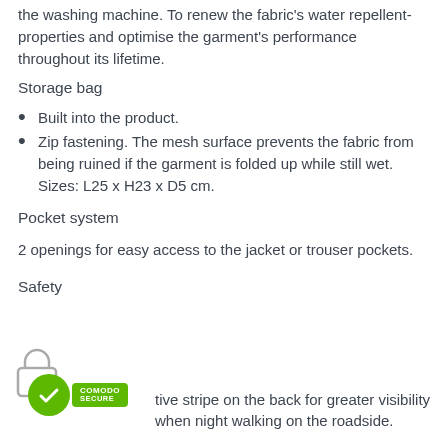the washing machine. To renew the fabric's water repellent-properties and optimise the garment's performance throughout its lifetime.
Storage bag
Built into the product.
Zip fastening. The mesh surface prevents the fabric from being ruined if the garment is folded up while still wet. Sizes: L25 x H23 x D5 cm.
Pocket system
2 openings for easy access to the jacket or trouser pockets.
Safety
[Figure (logo): Comodo Secure badge with thumbs up icon]
tive stripe on the back for greater visibility when night walking on the roadside.